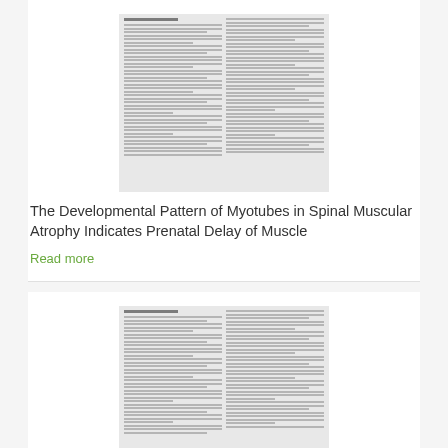[Figure (screenshot): Thumbnail of a scanned medical journal article page with two-column text layout]
The Developmental Pattern of Myotubes in Spinal Muscular Atrophy Indicates Prenatal Delay of Muscle
Read more
[Figure (screenshot): Thumbnail of a scanned medical journal article page titled 'SMN mutants of spinal muscular atrophy patients are defective in binding to snRNP proteins' with two-column text layout]